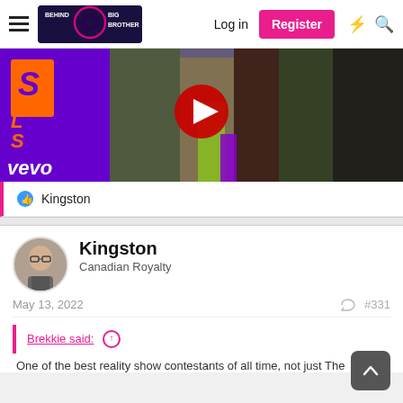Behind Big Brother - Log in | Register
[Figure (screenshot): YouTube video thumbnail showing Vevo music video with people in colorful costumes, purple/orange Vevo branding on left, YouTube play button in center]
Kingston
Kingston
Canadian Royalty
May 13, 2022  #331
Brekkie said:
One of the best reality show contestants of all time, not just The